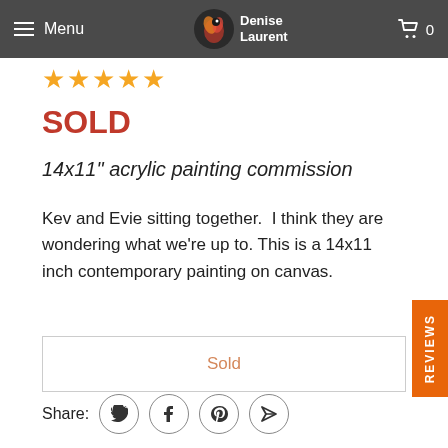Menu | Denise Laurent | Cart 0
★★★★★
SOLD
14x11" acrylic painting commission
Kev and Evie sitting together.  I think they are wondering what we're up to. This is a 14x11 inch contemporary painting on canvas.
Sold
REVIEWS
Share: